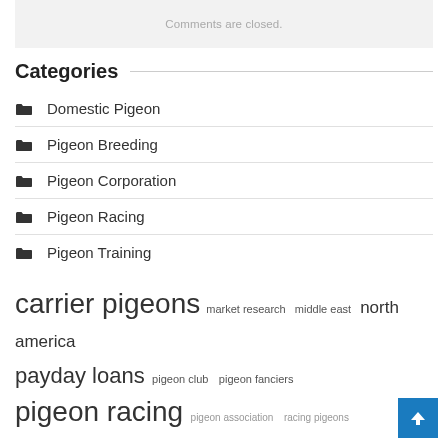Comments are closed.
Categories
Domestic Pigeon
Pigeon Breeding
Pigeon Corporation
Pigeon Racing
Pigeon Training
carrier pigeons  market research  middle east  north america  payday loans  pigeon club  pigeon fanciers  pigeon racing  pigeon association  racing pigeons